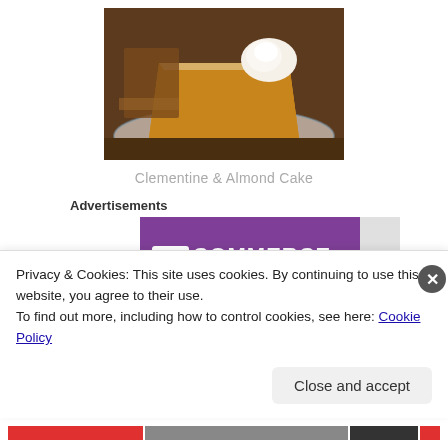[Figure (photo): A slice of Clementine and Almond cake on a decorative plate with whipped cream on top, dusted with powdered sugar. Dark wooden background.]
Clementine & Almond Cake
Advertisements
[Figure (logo): WooCommerce logo on purple background - white WOO in a box followed by COMMERCE in white uppercase letters]
Privacy & Cookies: This site uses cookies. By continuing to use this website, you agree to their use.
To find out more, including how to control cookies, see here: Cookie Policy
Close and accept